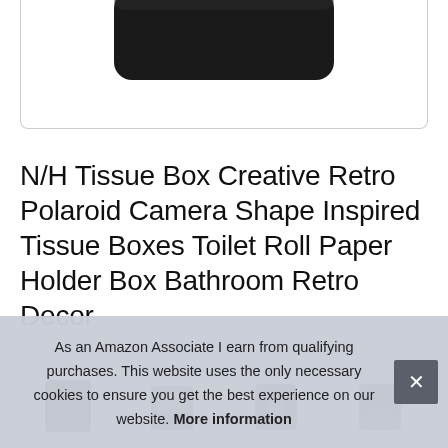[Figure (photo): Partial product image showing a black rounded rectangular object (bottom portion visible) against white background, inside a bordered card]
N/H Tissue Box Creative Retro Polaroid Camera Shape Inspired Tissue Boxes Toilet Roll Paper Holder Box Bathroom Retro Decor
[Figure (photo): Row of product thumbnail images showing the tissue box from different angles]
As an Amazon Associate I earn from qualifying purchases. This website uses the only necessary cookies to ensure you get the best experience on our website. More information